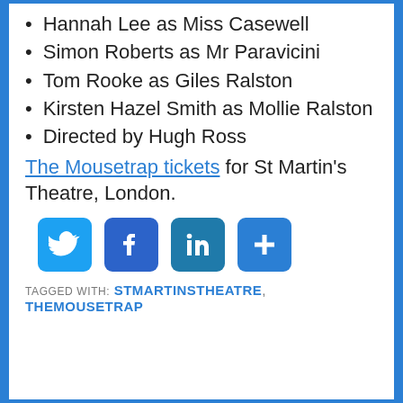Hannah Lee as Miss Casewell
Simon Roberts as Mr Paravicini
Tom Rooke as Giles Ralston
Kirsten Hazel Smith as Mollie Ralston
Directed by Hugh Ross
The Mousetrap tickets for St Martin's Theatre, London.
[Figure (infographic): Social media share buttons: Twitter, Facebook, LinkedIn, and a plus/more button]
TAGGED WITH: STMARTINSTHEATRE, THEMOUSETRAP